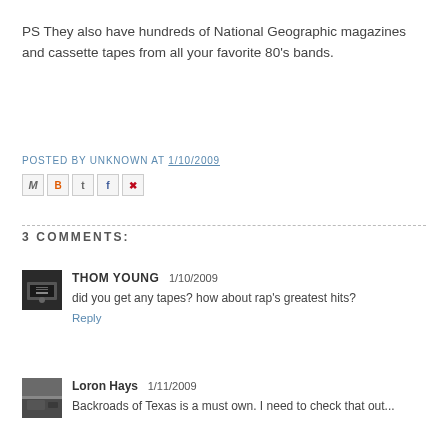PS They also have hundreds of National Geographic magazines and cassette tapes from all your favorite 80's bands.
POSTED BY UNKNOWN AT 1/10/2009
[Figure (other): Social sharing icon buttons: email (M), Blogger (B), Twitter (t), Facebook (f), Pinterest (P)]
3 COMMENTS:
[Figure (photo): Avatar thumbnail photo of Thom Young - typewriter image]
THOM YOUNG  1/10/2009
did you get any tapes? how about rap's greatest hits?
Reply
[Figure (photo): Avatar thumbnail photo of Loron Hays - landscape image]
Loron Hays  1/11/2009
Backroads of Texas is a must own. I need to check that out...